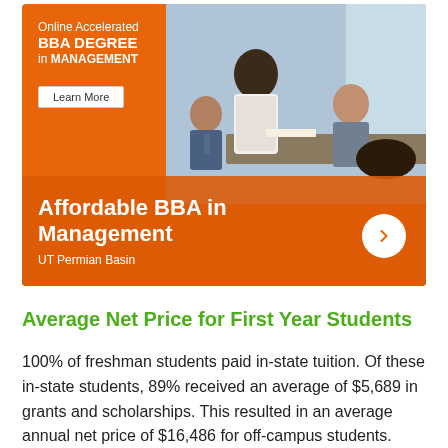[Figure (illustration): Advertisement banner for UT Permian Basin Online Accelerated BBA Degree in Management. Orange background with photo of business professionals in a meeting. Text reads 'Online Accelerated BBA DEGREE in MANAGEMENT', 'Learn More' button, 'Affordable BBA in Management', 'UT Permian Basin', and a right-arrow circle button.]
Average Net Price for First Year Students
100% of freshman students paid in-state tuition. Of these in-state students, 89% received an average of $5,689 in grants and scholarships. This resulted in an average annual net price of $16,486 for off-campus students.